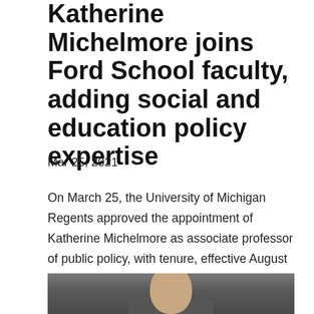Katherine Michelmore joins Ford School faculty, adding social and education policy expertise
Mar 25, 2021
On March 25, the University of Michigan Regents approved the appointment of Katherine Michelmore as associate professor of public policy, with tenure, effective August 30, 2021. Michelmore is a leading scholar and educator on the social safety...
[Figure (photo): Photo of Katherine Michelmore, partially visible at bottom of page]